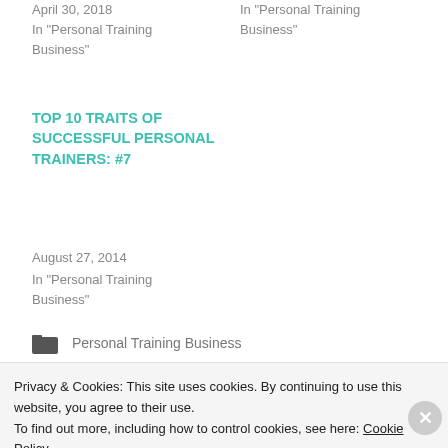April 30, 2018
In "Personal Training Business"
In "Personal Training Business"
TOP 10 TRAITS OF SUCCESSFUL PERSONAL TRAINERS: #7
August 27, 2014
In "Personal Training Business"
Personal Training Business
AUTHOR   BRAD SHOENFELD   CDC
Privacy & Cookies: This site uses cookies. By continuing to use this website, you agree to their use.
To find out more, including how to control cookies, see here: Cookie Policy
Close and accept